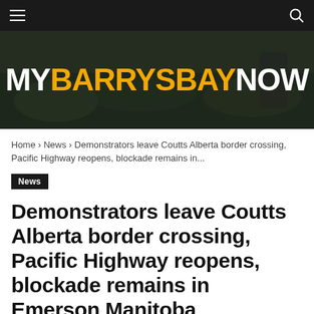[Figure (logo): MyBarrysBayNow website logo on a dark nature background banner]
Home › News › Demonstrators leave Coutts Alberta border crossing, Pacific Highway reopens, blockade remains in...
News
Demonstrators leave Coutts Alberta border crossing, Pacific Highway reopens, blockade remains in Emerson Manitoba